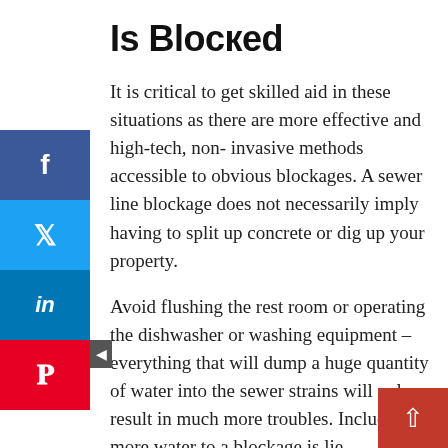Is Blocked
It is critical to get skilled aid in these situations as there are more effective and high-tech, non-invasive methods accessible to obvious blockages. A sewer line blockage does not necessarily imply having to split up concrete or dig up your property.
Avoid flushing the rest room or operating the dishwasher or washing equipment – everything that will dump a huge quantity of water into the sewer strains will only result in much more troubles. Including far more water to a blockage is lie incorporating a lot more gas to a fireplace.
Flip off the water. Every bathroom and sink has a shut-off valve and there is a single to shut off the water to the whole home. Consider appropriate